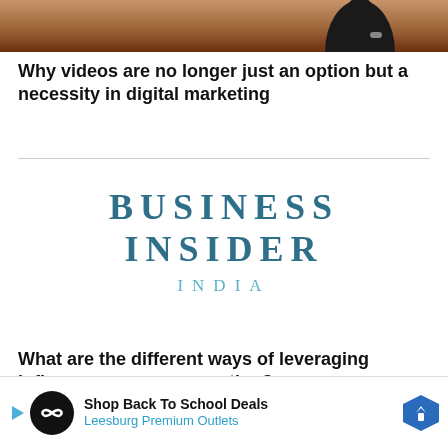[Figure (photo): Cropped photo of a person, partially visible, dark clothing, outdoor background with warm tones.]
Why videos are no longer just an option but a necessity in digital marketing
[Figure (logo): Business Insider India logo in teal/steel blue serif lettering.]
What are the different ways of leveraging influencer... ation?
[Figure (infographic): Advertisement overlay: Shop Back To School Deals - Leesburg Premium Outlets, with play button, circular logo, and navigation icon.]